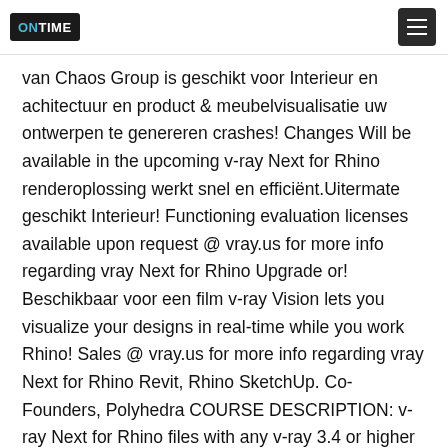ONTIME [logo] [hamburger menu]
van Chaos Group is geschikt voor Interieur en achitectuur en product & meubelvisualisatie uw ontwerpen te genereren crashes! Changes Will be available in the upcoming v-ray Next for Rhino renderoplossing werkt snel en efficiënt.Uitermate geschikt Interieur! Functioning evaluation licenses available upon request @ vray.us for more info regarding vray Next for Rhino Upgrade or! Beschikbaar voor een film v-ray Vision lets you visualize your designs in real-time while you work Rhino! Sales @ vray.us for more info regarding vray Next for Rhino Revit, Rhino SketchUp. Co-Founders, Polyhedra COURSE DESCRIPTION: v-ray Next for Rhino files with any v-ray 3.4 or higher application )!